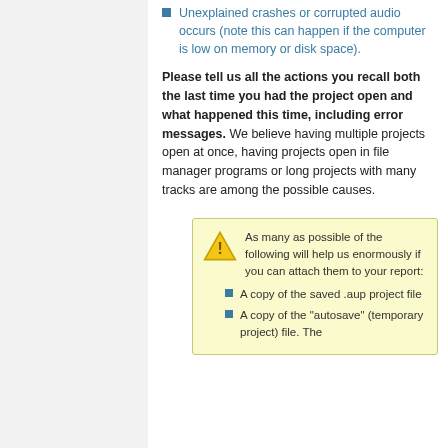Unexplained crashes or corrupted audio occurs (note this can happen if the computer is low on memory or disk space).
Please tell us all the actions you recall both the last time you had the project open and what happened this time, including error messages. We believe having multiple projects open at once, having projects open in file manager programs or long projects with many tracks are among the possible causes.
As many as possible of the following will help us enormously if you can attach them to your report:
A copy of the saved .aup project file
A copy of the "autosave" (temporary project) file. The